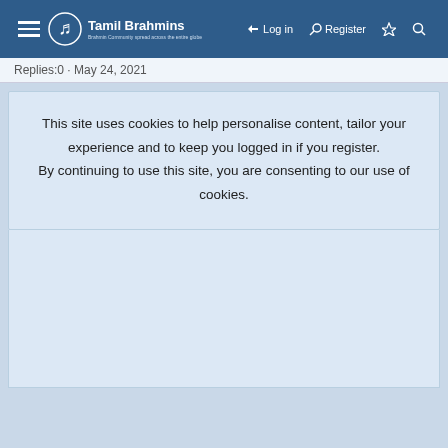Tamil Brahmins — Log in · Register
Replies:0 · May 24, 2021
This site uses cookies to help personalise content, tailor your experience and to keep you logged in if you register.
By continuing to use this site, you are consenting to our use of cookies.